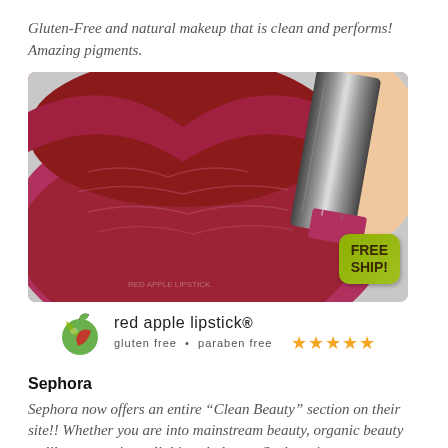Gluten-Free and natural makeup that is clean and performs! Amazing pigments.
[Figure (photo): Close-up photo of lips with dark red lipstick being applied, showing a lipstick tube. Below the photo is the Red Apple Lipstick brand logo with text 'red apple lipstick. gluten free • paraben free' and a FREE SHIP! badge and five gold stars.]
Sephora
Sephora now offers an entire “Clean Beauty” section on their site!! Whether you are into mainstream beauty, organic beauty or like me, are into all things balance- Sephora is one